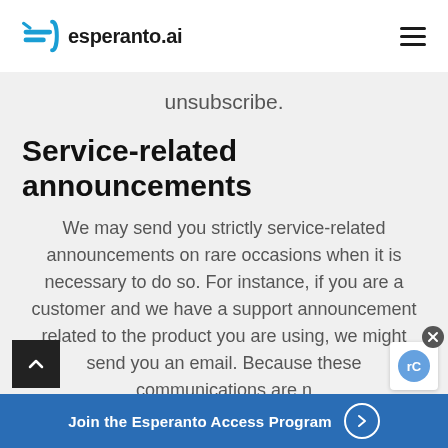esperanto.ai
unsubscribe.
Service-related announcements
We may send you strictly service-related announcements on rare occasions when it is necessary to do so. For instance, if you are a customer and we have a support announcement related to the product you are using, we might send you an email. Because these communications are n
Join the Esperanto Access Program